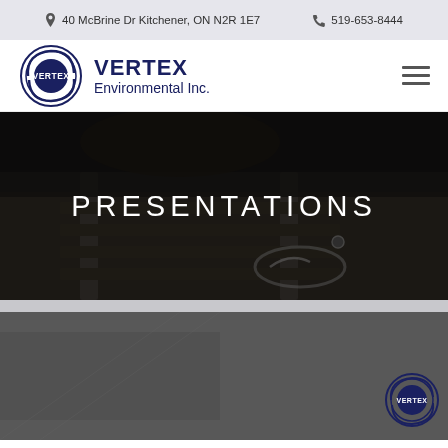40 McBrine Dr Kitchener, ON N2R 1E7   519-653-8444
[Figure (logo): Vertex Environmental Inc. logo with circular swirl design and company name]
PRESENTATIONS
[Figure (photo): Dark photo of railway tracks with equipment/hose, hero banner background]
[Figure (logo): Vertex logo partially visible in bottom right corner]